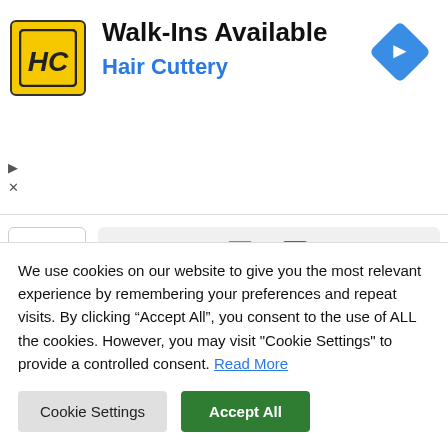[Figure (logo): Hair Cuttery HC logo — yellow square with black HC letters and border]
Walk-Ins Available
Hair Cuttery
[Figure (illustration): Blue diamond navigation/directions icon with white arrow pointing right]
Like or Dislike: 0 0
Reply
We use cookies on our website to give you the most relevant experience by remembering your preferences and repeat visits. By clicking “Accept All”, you consent to the use of ALL the cookies. However, you may visit "Cookie Settings" to provide a controlled consent. Read More
Cookie Settings
Accept All